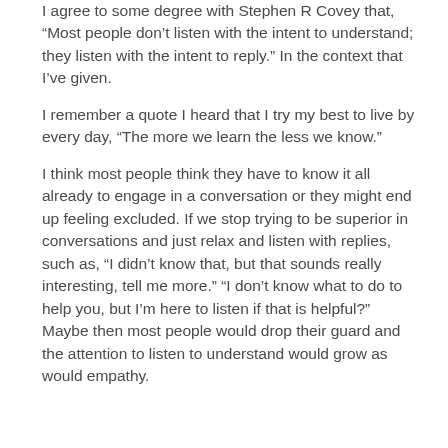I agree to some degree with Stephen R Covey that, “Most people don’t listen with the intent to understand; they listen with the intent to reply.” In the context that I’ve given.
I remember a quote I heard that I try my best to live by every day, “The more we learn the less we know.”
I think most people think they have to know it all already to engage in a conversation or they might end up feeling excluded. If we stop trying to be superior in conversations and just relax and listen with replies, such as, “I didn’t know that, but that sounds really interesting, tell me more.” “I don’t know what to do to help you, but I’m here to listen if that is helpful?” Maybe then most people would drop their guard and the attention to listen to understand would grow as would empathy.